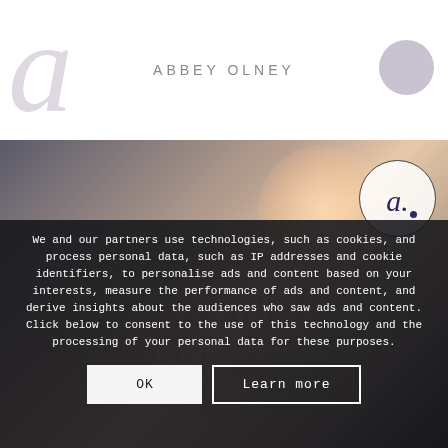[Figure (screenshot): Website header bar with large decorative italic 'a' letter in light grey, the text 'ABBEY OLNEY' in spaced uppercase grey letters, and a grey circle in the top right corner.]
[Figure (photo): Photograph of a person reclining, partially blurred, with a warm light highlight. In the top right corner is a circular logo containing a script 'a.' in dark blue on white background. Partially visible italic overlay text and a date '20th September...' appear in the lower portion.]
We and our partners use technologies, such as cookies, and process personal data, such as IP addresses and cookie identifiers, to personalise ads and content based on your interests, measure the performance of ads and content, and derive insights about the audiences who saw ads and content. Click below to consent to the use of this technology and the processing of your personal data for these purposes.
OK
Learn more